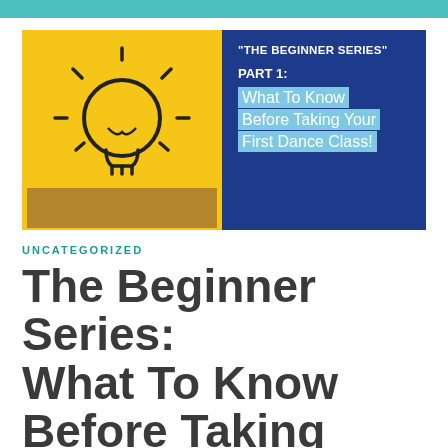[Figure (illustration): Blog post header image split into two halves: left side shows a yellow sticky note with a hand-drawn light bulb on it against a brown background; right side is dark blue with text overlay showing 'The Beginner Series' Part 1 with cyan highlighted text 'What To Know Before Taking Your First Dance Class!']
UNCATEGORIZED
The Beginner Series: What To Know Before Taking Your First Dance Class